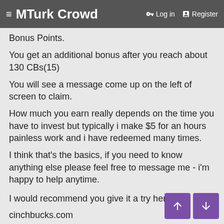≡ MTurk Crowd   🔑 Log in   🛍 Register
Bonus Points.
You get an additional bonus after you reach about 130 CBs(15)
You will see a message come up on the left of screen to claim.
How much you earn really depends on the time you have to invest but typically i make $5 for an hours painless work and i have redeemed many times.
I think that's the basics, if you need to know anything else please feel free to message me - i'm happy to help anytime.
I would recommend you give it a try here:
cinchbucks.com
Happy earning!! 😊